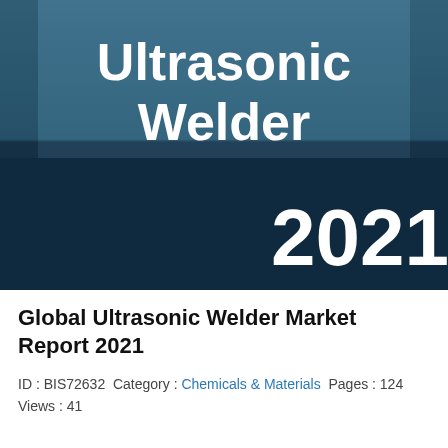[Figure (illustration): Book cover with dark teal/navy blue gradient background. Large white bold text reads 'Ultrasonic Welder' in the upper center area. A large white bold '2021' appears in the lower right. The cover has a darker navy band across the middle-lower portion.]
Global Ultrasonic Welder Market Report 2021
ID : BIS72632  Category : Chemicals & Materials  Pages : 124  Views : 41